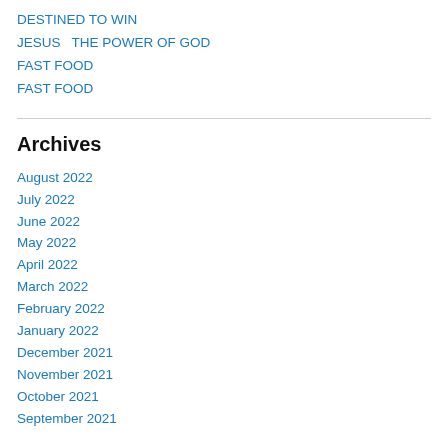DESTINED TO WIN
JESUS  THE POWER OF GOD
FAST FOOD
FAST FOOD
Archives
August 2022
July 2022
June 2022
May 2022
April 2022
March 2022
February 2022
January 2022
December 2021
November 2021
October 2021
September 2021